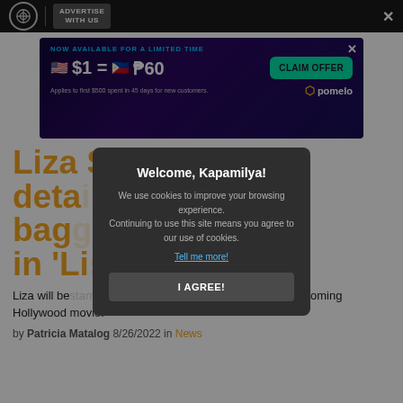ABS-CBN | ADVERTISE WITH US
[Figure (screenshot): Advertisement banner: NOW AVAILABLE FOR A LIMITED TIME. $1 = ₱60. Applies to first $500 spent in 45 days for new customers. CLAIM OFFER. pomelo logo.]
Liza Soberano details baggage taffy in 'Li... ein'
Liza will be ... (Kathryn Newton) in the upcoming Hollywood movie!
by Patricia Matalog 8/26/2022 in News